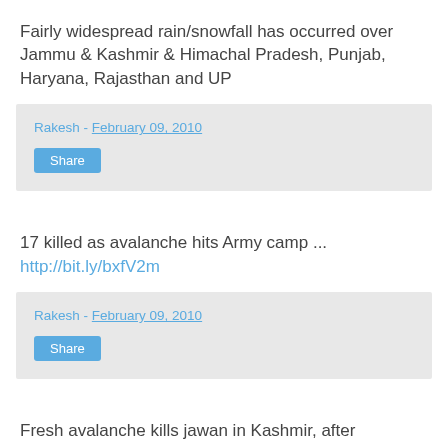Fairly widespread rain/snowfall has occurred over Jammu & Kashmir & Himachal Pradesh, Punjab, Haryana, Rajasthan and UP
Rakesh - February 09, 2010
Share
17 killed as avalanche hits Army camp ... http://bit.ly/bxfV2m
Rakesh - February 09, 2010
Share
Fresh avalanche kills jawan in Kashmir, after yesterday's avalanche that killed 17... http://bit.ly/hBcegE